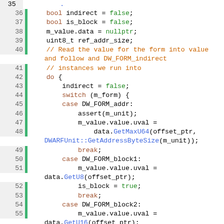Source code listing, lines 35–64, C++ DWARF attribute value parsing
35: (continuation from previous)
36: bool indirect = false;
37: bool is_block = false;
38: m_value.data = nullptr;
39: uint8_t ref_addr_size;
40: // Read the value for the form into value and follow and DW_FORM_indirect
41: // instances we run into
42: do {
43: indirect = false;
44: switch (m_form) {
45: case DW_FORM_addr:
46: assert(m_unit);
47: m_value.value.uval =
48: data.GetMaxU64(offset_ptr, DWARFUnit::GetAddressByteSize(m_unit));
49: break;
50: case DW_FORM_block1:
51: m_value.value.uval = data.GetU8(offset_ptr);
52: is_block = true;
53: break;
54: case DW_FORM_block2:
55: m_value.value.uval = data.GetU16(offset_ptr);
56: is_block = true;
57: break;
58: case DW_FORM_block4:
59: m_value.value.uval = data.GetU32(offset_ptr);
60: is_block = true;
61: break;
62: case DW_FORM_data16:
63: m_value.value.uval = 16;
64: is_block = true;